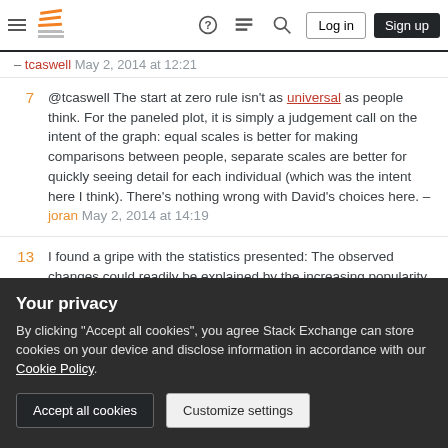Stack Exchange navigation bar with Log in and Sign up buttons
– tcaswell May 2, 2014 at 12:21
7  @tcaswell The start at zero rule isn't as universal as people think. For the paneled plot, it is simply a judgement call on the intent of the graph: equal scales is better for making comparisons between people, separate scales are better for quickly seeing detail for each individual (which was the intent here I think). There's nothing wrong with David's choices here. – joran May 2, 2014 at 14:19
13  I found a gripe with the statistics presented: The observed changes could readily be explained by the increasing popularity of SO. Consider the hypothesis, "by the time you get to read a given question, the
Your privacy
By clicking "Accept all cookies", you agree Stack Exchange can store cookies on your device and disclose information in accordance with our Cookie Policy.
Accept all cookies  Customize settings
was actually mostly (though not exclusively) Stack